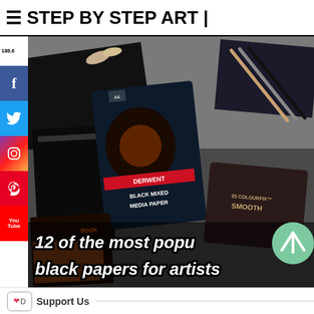≡ STEP BY STEP ART |
[Figure (photo): Flat lay photo showing various black art papers and pads including Derwent Black Mixed Media Paper (A4), a black notebook/sketchbook, COLOURFIX SMOOTH card, pencils, and other black paper products on a surface. Text overlay at bottom reads '12 of the most popular black papers for artists'. Social media icons (Facebook, Twitter, Instagram, Pinterest, YouTube) visible on left sidebar.]
Support Us